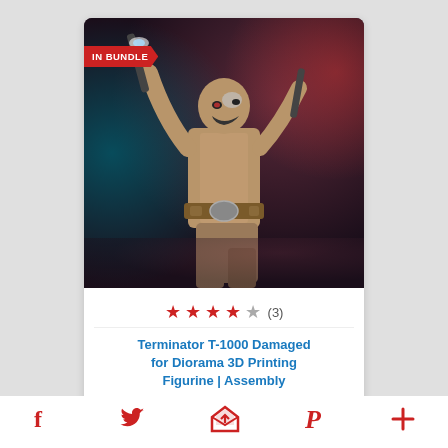[Figure (photo): Terminator T-1000 3D printed figurine in police uniform with raised arms, dramatic lighting, dark background. Red badge label 'IN BUNDLE' in top left corner of image.]
★ ★ ★ ★ ☆ (3)
Terminator T-1000 Damaged for Diorama 3D Printing Figurine | Assembly
Follow us
$19.99